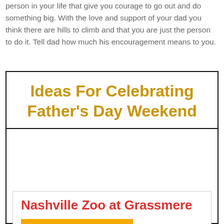person in your life that give you courage to go out and do something big. With the love and support of your dad you think there are hills to climb and that you are just the person to do it. Tell dad how much his encouragement means to you.
Ideas For Celebrating Father's Day Weekend
Nashville Zoo at Grassmere
[Figure (logo): Nashville Zoo logo on orange/yellow background]